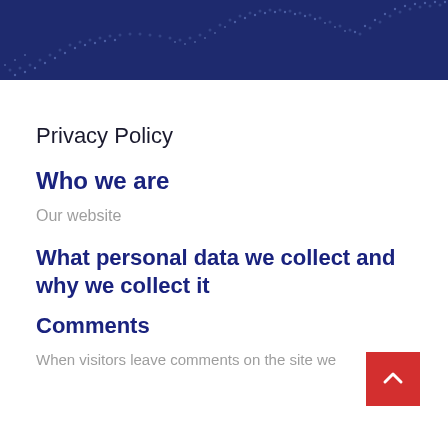[Figure (illustration): Dark blue decorative banner header with dot/wave pattern in lighter blue dots]
Privacy Policy
Who we are
Our website
What personal data we collect and why we collect it
Comments
When visitors leave comments on the site we